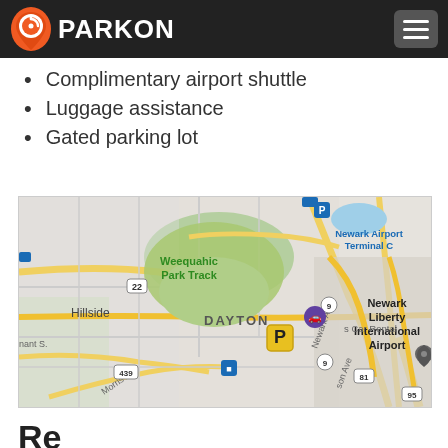PARKON
Complimentary airport shuttle
Luggage assistance
Gated parking lot
[Figure (map): Google Maps view showing Newark Liberty International Airport Terminal C, Weequahic Park Track, Dayton neighborhood, Hillside, with a parking location marker (P icon) near airport car rental area. Roads including Newark Ave, Morris Ave, Route 9, Route 22, Route 439, Route 81, Route 95 visible.]
Re...